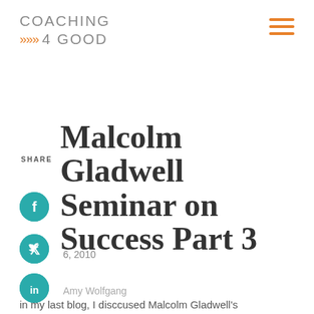[Figure (logo): Coaching 4 Good logo with orange chevron arrows]
Malcolm Gladwell Seminar on Success Part 3
6, 2010
Amy Wolfgang
in my last blog, I discussed Malcolm Gladwell's